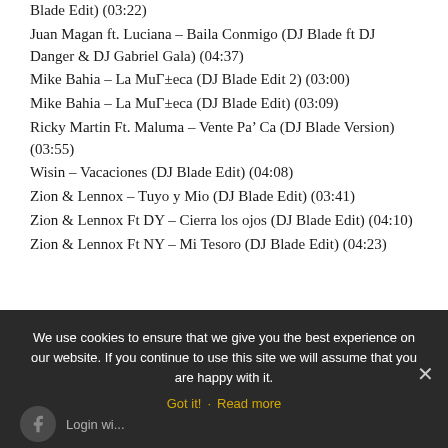Blade Edit) (03:22)
Juan Magan ft. Luciana – Baila Conmigo (DJ Blade ft DJ Danger & DJ Gabriel Gala) (04:37)
Mike Bahia – La MuГ±eca (DJ Blade Edit 2) (03:00)
Mike Bahia – La MuГ±eca (DJ Blade Edit) (03:09)
Ricky Martin Ft. Maluma – Vente Pa' Ca (DJ Blade Version) (03:55)
Wisin – Vacaciones (DJ Blade Edit) (04:08)
Zion & Lennox – Tuyo y Mio (DJ Blade Edit) (03:41)
Zion & Lennox Ft DY – Cierra los ojos (DJ Blade Edit) (04:10)
Zion & Lennox Ft NY – Mi Tesoro (DJ Blade Edit) (04:23)
We use cookies to ensure that we give you the best experience on our website. If you continue to use this site we will assume that you are happy with it.
Got it! · Read more